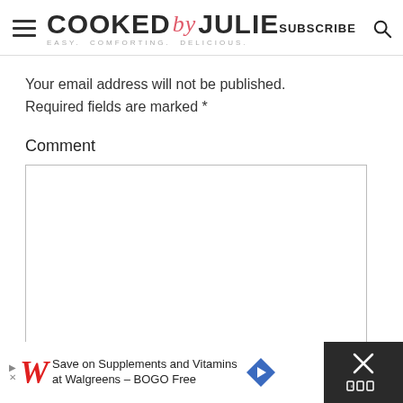COOKED by JULIE — EASY. COMFORTING. DELICIOUS. | SUBSCRIBE
Your email address will not be published. Required fields are marked *
Comment
[Figure (screenshot): Empty comment text area input box with light gray border]
[Figure (infographic): Advertisement bar: Walgreens - Save on Supplements and Vitamins at Walgreens - BOGO Free, with directional sign icon and close button]